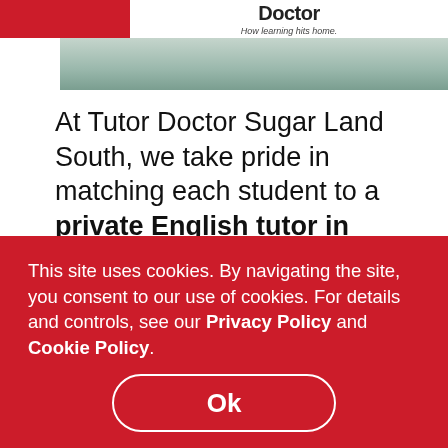Tutor Doctor — How learning hits home.
[Figure (photo): Photo strip of students/tutor in a learning session, partially cropped at top of page]
At Tutor Doctor Sugar Land South, we take pride in matching each student to a private English tutor in Sugar Land that fits their learning style, academic
This site uses cookies. By navigating the site, you consent to our use of cookies. For details and controls, see our Privacy Policy and Cookie Policy.
Ok